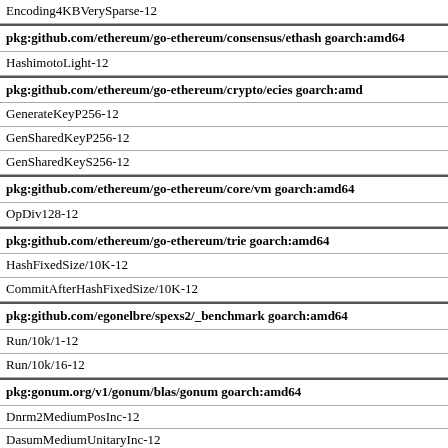Encoding4KBVerySparse-12
pkg:github.com/ethereum/go-ethereum/consensus/ethash goarch:amd64
HashimotoLight-12
pkg:github.com/ethereum/go-ethereum/crypto/ecies goarch:amd64
GenerateKeyP256-12
GenSharedKeyP256-12
GenSharedKeyS256-12
pkg:github.com/ethereum/go-ethereum/core/vm goarch:amd64
OpDiv128-12
pkg:github.com/ethereum/go-ethereum/trie goarch:amd64
HashFixedSize/10K-12
CommitAfterHashFixedSize/10K-12
pkg:github.com/egonelbre/spexs2/_benchmark goarch:amd64
Run/10k/1-12
Run/10k/16-12
pkg:gonum.org/v1/gonum/blas/gonum goarch:amd64
Dnrm2MediumPosInc-12
DasumMediumUnitaryInc-12
pkg:gonum.org/v1/gonum/lapack/gonum goarch:amd64
Dgeev/Circulant10-12
Dgeev/Circulant100-12